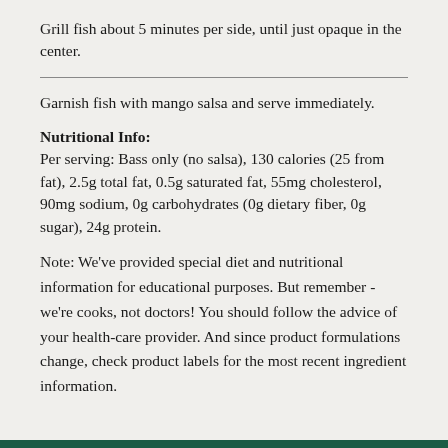Grill fish about 5 minutes per side, until just opaque in the center.
Garnish fish with mango salsa and serve immediately.
Nutritional Info:
Per serving: Bass only (no salsa), 130 calories (25 from fat), 2.5g total fat, 0.5g saturated fat, 55mg cholesterol, 90mg sodium, 0g carbohydrates (0g dietary fiber, 0g sugar), 24g protein.
Note: We've provided special diet and nutritional information for educational purposes. But remember - we're cooks, not doctors! You should follow the advice of your health-care provider. And since product formulations change, check product labels for the most recent ingredient information.